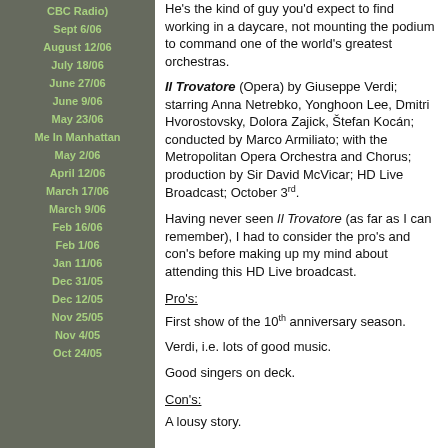CBC Radio)
Sept 6/06
August 12/06
July 18/06
June 27/06
June 9/06
May 23/06
Me In Manhattan
May 2/06
April 12/06
March 17/06
March 9/06
Feb 16/06
Feb 1/06
Jan 11/06
Dec 31/05
Dec 12/05
Nov 25/05
Nov 4/05
Oct 24/05
He's the kind of guy you'd expect to find working in a daycare, not mounting the podium to command one of the world's greatest orchestras.
Il Trovatore (Opera) by Giuseppe Verdi; starring Anna Netrebko, Yonghoon Lee, Dmitri Hvorostovsky, Dolora Zajick, Štefan Kocán; conducted by Marco Armiliato; with the Metropolitan Opera Orchestra and Chorus; production by Sir David McVicar; HD Live Broadcast; October 3rd.
Having never seen Il Trovatore (as far as I can remember), I had to consider the pro's and con's before making up my mind about attending this HD Live broadcast.
Pro's:
First show of the 10th anniversary season.
Verdi, i.e. lots of good music.
Good singers on deck.
Con's:
A lousy story.